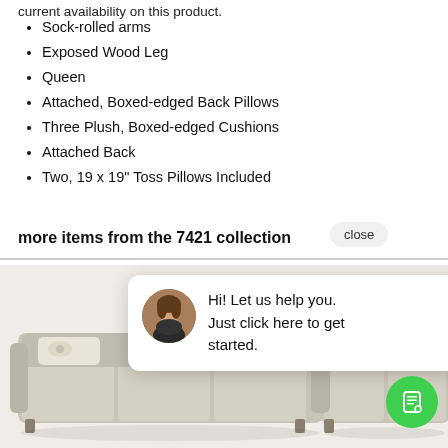current availability on this product.
Sock-rolled arms
Exposed Wood Leg
Queen
Attached, Boxed-edged Back Pillows
Three Plush, Boxed-edged Cushions
Attached Back
Two, 19 x 19" Toss Pillows Included
more items from the 7421 collection
[Figure (screenshot): Chat popup with female avatar: 'Hi! Let us help you. Just click here to get started.']
[Figure (photo): Two light gray sofas with floral throw pillows side by side, and a green chat button overlay]